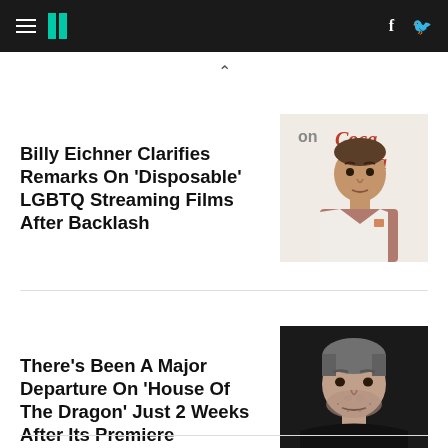HuffPost navigation header with hamburger menu, logo, Facebook and Twitter icons
Billy Eichner Clarifies Remarks On 'Disposable' LGBTQ Streaming Films After Backlash
[Figure (photo): Billy Eichner in a white suit jacket in front of a Coca-Cola branded backdrop]
There's Been A Major Departure On 'House Of The Dragon' Just 2 Weeks After Its Premiere
[Figure (photo): Middle-aged man with salt-and-pepper hair and stubble against a dark background]